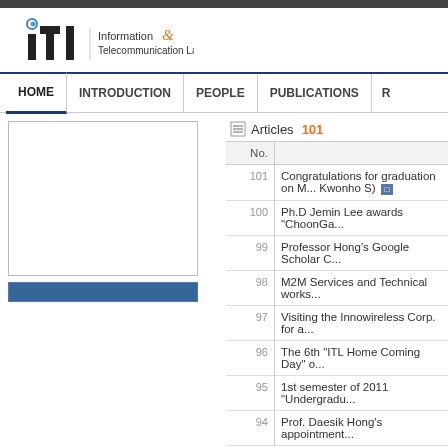[Figure (logo): ITL - Information & Telecommunication Lab logo]
HOME | INTRODUCTION | PEOPLE | PUBLICATIONS | R...
[Figure (photo): Left panel image placeholder (white box)]
Articles 101
| No. |  |
| --- | --- |
| 101 | Congratulations for graduation on M... Kwonho S) [file] |
| 100 | Ph.D Jemin Lee awards "ChoonGa... |
| 99 | Professor Hong's Google Scholar C... |
| 98 | M2M Services and Technical works... |
| 97 | Visiting the Innowireless Corp. for a... |
| 96 | The 6th "ITL Home Coming Day" o... |
| 95 | 1st semester of 2011 "Undergradu... |
| 94 | Prof. Daesik Hong's appointment... |